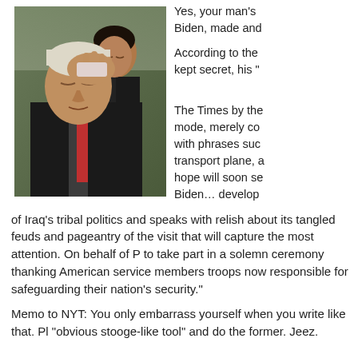[Figure (photo): Two men in dark suits, one in the foreground wiping his forehead with his hand, eyes closed, wearing a red tie; another man visible behind him looking downward.]
Yes, your man's Biden, made and...
According to the kept secret, his "...
The Times by the mode, merely co with phrases suc transport plane, a hope will soon se Biden… develop
of Iraq's tribal politics and speaks with relish about its tangled feuds and pageantry of the visit that will capture the most attention. On behalf of P to take part in a solemn ceremony thanking American service members troops now responsible for safeguarding their nation's security."
Memo to NYT: You only embarrass yourself when you write like that. Pl "obvious stooge-like tool" and do the former. Jeez.
Anyway, here's the deal: No American VIP is allowed to use the words synonyms thereof unless s/he is willing to announce their trip to Iraq in